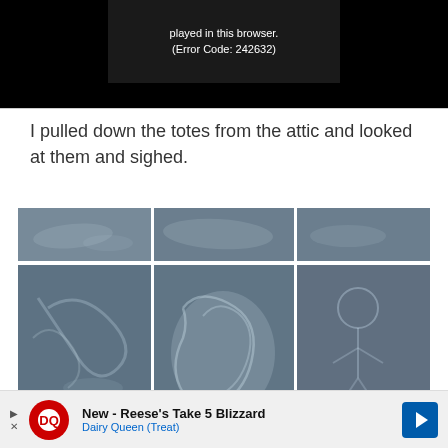[Figure (screenshot): Video player error message on black background showing 'played in this browser. (Error Code: 242632)']
I pulled down the totes from the attic and looked at them and sighed.
[Figure (photo): Photo grid showing tops and sides of dusty blue-gray storage totes arranged in a 2x3 grid layout]
[Figure (screenshot): Advertisement banner: New - Reese's Take 5 Blizzard, Dairy Queen (Treat)]